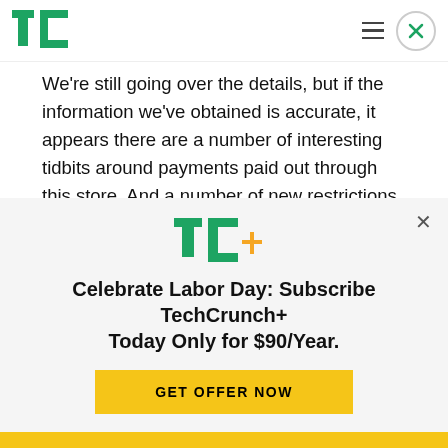[Figure (logo): TechCrunch logo — green TC letters block style]
We’re still going over the details, but if the information we’ve obtained is accurate, it appears there are a number of interesting tidbits around payments paid out through this store. And a number of new restrictions. Ugh.

Amazon’s entry into the Android app space follows
[Figure (infographic): TechCrunch+ subscription banner overlay with TC+ logo, headline 'Celebrate Labor Day: Subscribe TechCrunch+ Today Only for $90/Year.' and a yellow GET OFFER NOW button]